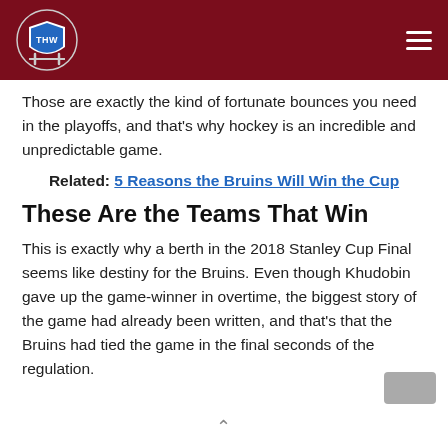THW Hockey Writers
Those are exactly the kind of fortunate bounces you need in the playoffs, and that’s why hockey is an incredible and unpredictable game.
Related: 5 Reasons the Bruins Will Win the Cup
These Are the Teams That Win
This is exactly why a berth in the 2018 Stanley Cup Final seems like destiny for the Bruins. Even though Khudobin gave up the game-winner in overtime, the biggest story of the game had already been written, and that’s that the Bruins had tied the game in the final seconds of the regulation.